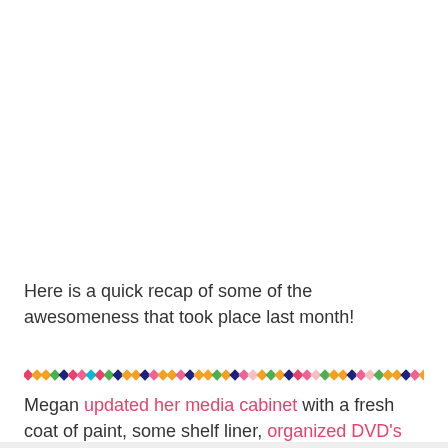Here is a quick recap of some of the awesomeness that took place last month!
[Figure (illustration): A decorative horizontal divider made of small colorful diamond/dot shapes in repeating colors: red, orange, green, navy, pink, teal, green, orange, navy, pink, yellow, orange, navy, pink, yellow, orange, navy, pink, green, orange, navy, pink, light pink, green, orange, navy, light pink]
Megan updated her media cabinet with a fresh coat of paint, some shelf liner, organized DVD's and new-old storage boxes.